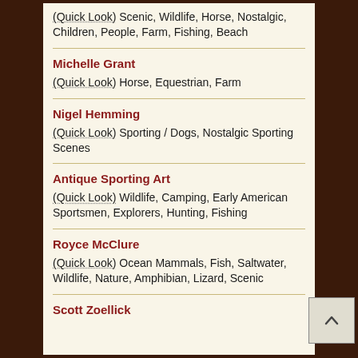(Quick Look) Scenic, Wildlife, Horse, Nostalgic, Children, People, Farm, Fishing, Beach
Michelle Grant
(Quick Look) Horse, Equestrian, Farm
Nigel Hemming
(Quick Look) Sporting / Dogs, Nostalgic Sporting Scenes
Antique Sporting Art
(Quick Look) Wildlife, Camping, Early American Sportsmen, Explorers, Hunting, Fishing
Royce McClure
(Quick Look) Ocean Mammals, Fish, Saltwater, Wildlife, Nature, Amphibian, Lizard, Scenic
Scott Zoellick